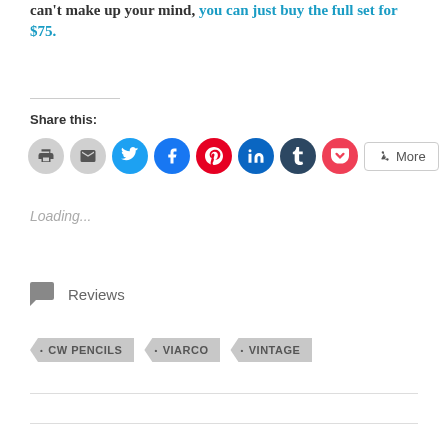can't make up your mind, you can just buy the full set for $75.
Share this:
[Figure (other): Social share buttons: print, email, Twitter, Facebook, Pinterest, LinkedIn, Tumblr, Pocket, and More]
Loading...
Reviews
CW PENCILS
VIARCO
VINTAGE